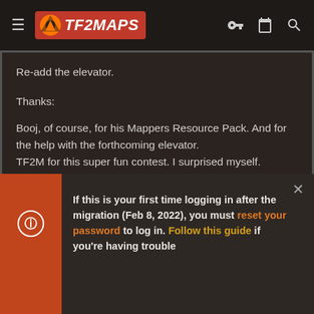TF2MAPS
Re-add the elevator.
Thanks:
Booj, of course, for his Mappers Resource Pack. And for the help with the forthcoming elevator.
TF2M for this super fun contest. I surprised myself.
My friend EP for encouraging me along the way, especially through the all nighter.
If this is your first time logging in after the migration (Feb 8, 2022), you must reset your password to log in. Follow this guide if you're having trouble